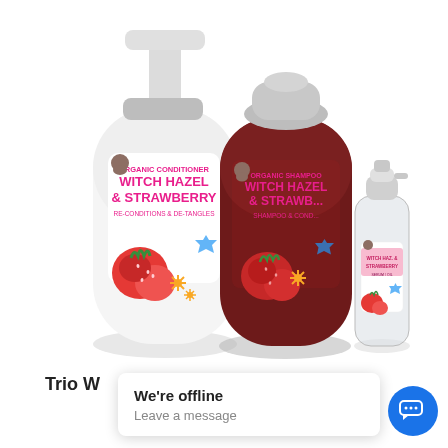[Figure (photo): Three pet grooming product bottles: a white pump bottle of Organic Conditioner Witch Hazel & Strawberry (Re-conditions & De-tangles), a dark red bottle of Organic Witch Hazel & Strawberry Shampoo & Conditioner, and a small clear spray bottle of Witch Hazel & Strawberry serum/oil, all with labels featuring strawberry and witch hazel imagery.]
Trio W
We're offline
Leave a message